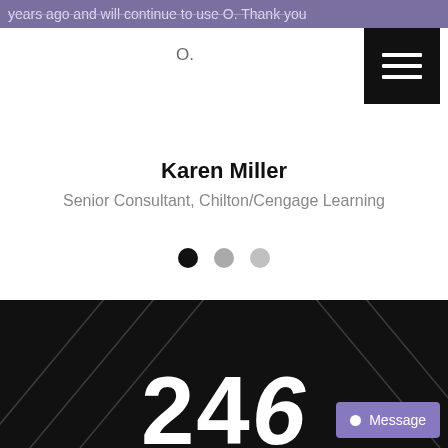years ago and will continue to use O. Thank you O.
Karen Miller
Senior Consultant, Chilton/Cengage Learning
[Figure (other): Carousel pagination dots: one black dot and two gray dots]
[Figure (other): Dark background section with large partial number '24' or '246' visible, decorative diagonal lines overlay]
[Figure (other): Message button with chat bubble icon in bottom right corner]